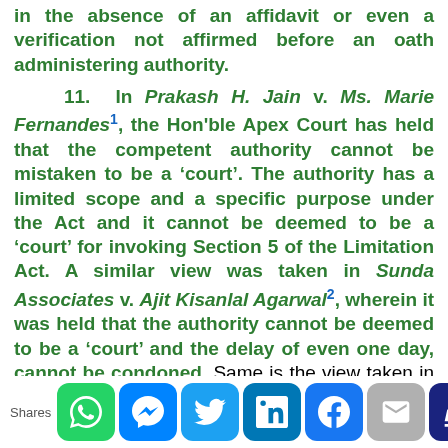in the absence of an affidavit or even a verification not affirmed before an oath administering authority.
11. In Prakash H. Jain v. Ms. Marie Fernandes[1], the Hon'ble Apex Court has held that the competent authority cannot be mistaken to be a ‘court’. The authority has a limited scope and a specific purpose under the Act and it cannot be deemed to be a ‘court’ for invoking Section 5 of the Limitation Act. A similar view was taken in Sunda Associates v. Ajit Kisanlal Agarwal[2], wherein it was held that the authority cannot be deemed to be a ‘court’ and the delay of even one day, cannot be condoned. Same is the view taken in Naranji Bhimji Family Trust, Nagpur v. Additional Commissioner, Nagpur[3]
Shares [social icons]